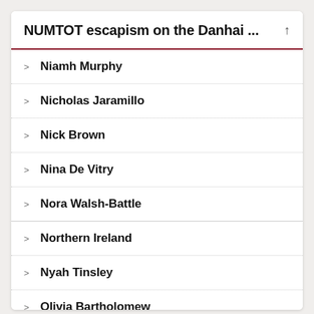NUMTOT escapism on the Danhai ...
Niamh Murphy
Nicholas Jaramillo
Nick Brown
Nina De Vitry
Nora Walsh-Battle
Northern Ireland
Nyah Tinsley
Olivia Bartholomew
Olivia Newsome
packing